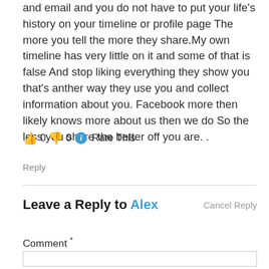and email and you do not have to put your life's history on your timeline or profile page The more you tell the more they share.My own timeline has very little on it and some of that is false And stop liking everything they show you that's anther way they use you and collect information about you. Facebook more then likely knows more about us then we do So the less you share the better off you are. .
👍 0 👎 0 ℹ Rate This
Reply
Leave a Reply to Alex
Cancel Reply
Comment *